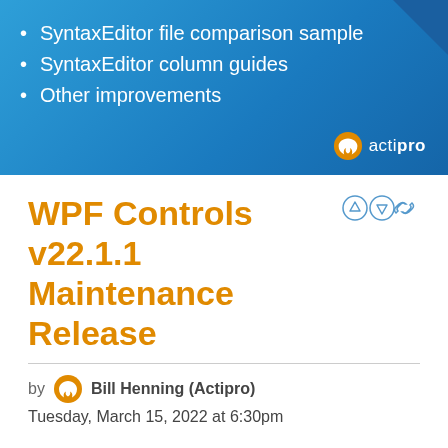SyntaxEditor file comparison sample
SyntaxEditor column guides
Other improvements
[Figure (logo): Actipro logo with circular icon and text 'actipro' in white]
WPF Controls v22.1.1 Maintenance Release
by Bill Henning (Actipro)
Tuesday, March 15, 2022 at 6:30pm
This version adds several exciting new features for SyntaxEditor, along with making numerous improvements to the control and its add-ons. Other minor updates are made to Docking/MDI,